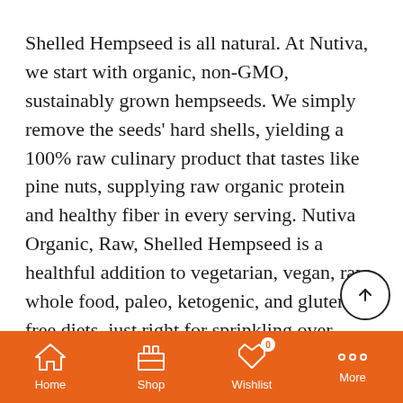Shelled Hempseed is all natural. At Nutiva, we start with organic, non-GMO, sustainably grown hempseeds. We simply remove the seeds' hard shells, yielding a 100% raw culinary product that tastes like pine nuts, supplying raw organic protein and healthy fiber in every serving. Nutiva Organic, Raw, Shelled Hempseed is a healthful addition to vegetarian, vegan, raw, whole food, paleo, ketogenic, and gluten-free diets, just right for sprinkling over yogurt or salads, adding to shakes and smoothies, or including in baked or sautéed dishes. They even make a great snack right out of the bag! Nutiva was founded in 1999 with a single purpose in mind – to Revolutionize the Way the World Eats. We produce organic, nutrient dense superfoods that are good for you and good for the planet. Social and environmental responsibility is a core part of Nutiva's culture and busin...
Home | Shop | Wishlist (0) | More